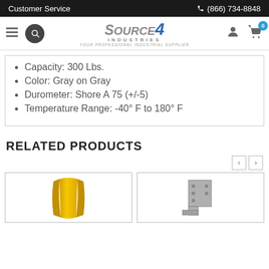Customer Service | (866) 734-8848
[Figure (logo): Source4 Industries logo — YOUR PROFESSIONAL INDUSTRIAL SUPPLIER]
Capacity: 300 Lbs.
Color: Gray on Gray
Durometer: Shore A 75 (+/-5)
Temperature Range: -40° F to 180° F
RELATED PRODUCTS
[Figure (photo): Yellow corner guard product photo]
[Figure (photo): Metal bracket/anchor product photo]